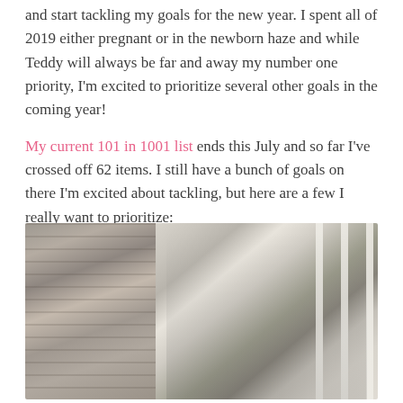and start tackling my goals for the new year. I spent all of 2019 either pregnant or in the newborn haze and while Teddy will always be far and away my number one priority, I'm excited to prioritize several other goals in the coming year!
My current 101 in 1001 list ends this July and so far I've crossed off 62 items. I still have a bunch of goals on there I'm excited about tackling, but here are a few I really want to prioritize:
[Figure (photo): A couple smiling outdoors. On the left, a man with dark hair wearing sunglasses and a gray zip-up pullover. On the right, a woman with auburn hair in a bun wearing sunglasses and a white jacket. Background shows cedar shingle siding on the left and a white lattice fence on the right with greenery.]